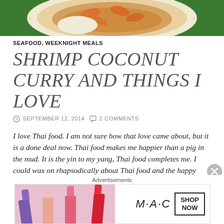[Figure (photo): Top portion of a food photo showing shrimp coconut curry dish in a bowl on a green leaf background, cropped at the top of the page.]
SEAFOOD, WEEKNIGHT MEALS
SHRIMP COCONUT CURRY AND THINGS I LOVE
SEPTEMBER 12, 2014   2 COMMENTS
I love Thai food. I am not sure how that love came about, but it is a done deal now. Thai food makes me happier than a pig in the mud. It is the yin to my yang, Thai food completes me. I could wax on rhapsodically about Thai food and the happy feelings it brings about in me...but I will just say I ❤ Thai food and leave it there. But ooh I might need a bumper sticker that says Cajun Mama ❤ Thai
[Figure (photo): MAC cosmetics advertisement banner showing colorful lipsticks with text SHOP NOW.]